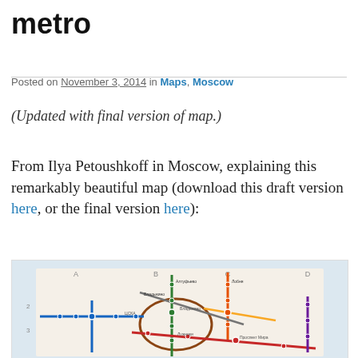metro
Posted on November 3, 2014 in Maps, Moscow
(Updated with final version of map.)
From Ilya Petoushkoff in Moscow, explaining this remarkably beautiful map (download this draft version here, or the final version here):
[Figure (map): Moscow metro map by Ilya Petoushkoff showing colored transit lines with Cyrillic station names on a light blue/cream background with grid coordinates A-D along the top.]